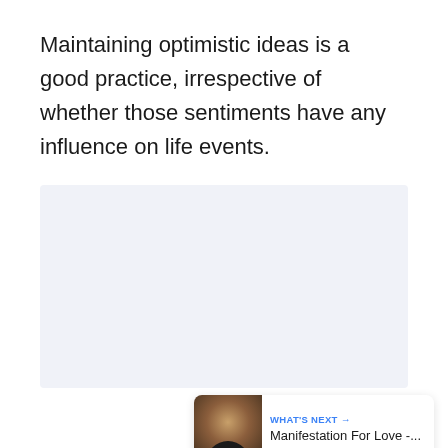Maintaining optimistic ideas is a good practice, irrespective of whether those sentiments have any influence on life events.
[Figure (screenshot): UI panel with like button (heart icon, blue circle), count of 3, share button, and a 'What's Next' card showing 'Manifestation For Love -...' with a thumbnail]